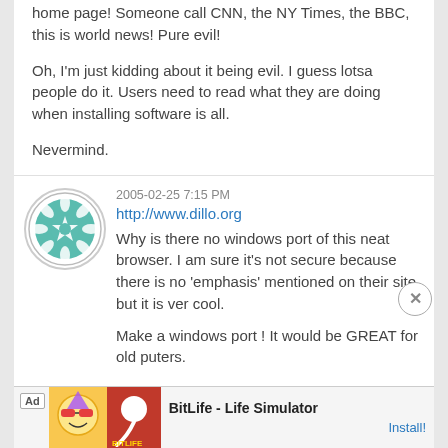home page! Someone call CNN, the NY Times, the BBC, this is world news! Pure evil!
Oh, I'm just kidding about it being evil. I guess lotsa people do it. Users need to read what they are doing when installing software is all.
Nevermind.
2005-02-25 7:15 PM
http://www.dillo.org
Why is there no windows port of this neat browser. I am sure it's not secure because there is no 'emphasis' mentioned on their site but it is ver cool.
Make a windows port ! It would be GREAT for old puters.
[Figure (other): Ad banner for BitLife - Life Simulator app]